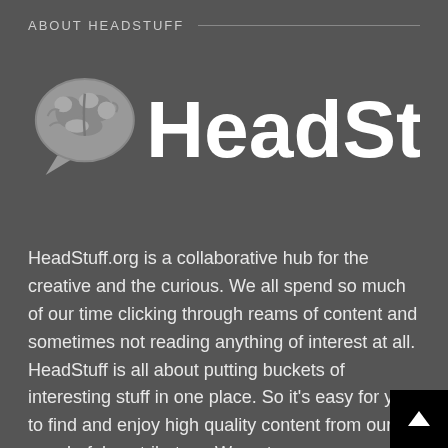ABOUT HEADSTUFF
[Figure (logo): HeadStuff brain/speech-bubble logo icon in grey, followed by bold white text 'HeadStuff.' wordmark]
HeadStuff.org is a collaborative hub for the creative and the curious. We all spend so much of our time clicking through reams of content and sometimes not reading anything of interest at all. HeadStuff is all about putting buckets of interesting stuff in one place. So it's easy for you to find and enjoy high quality content from our wonderful contributors. We get up every morning to make your daily journey through the internet more interesting and productive. We're all about the quality, and support good writing and reading.